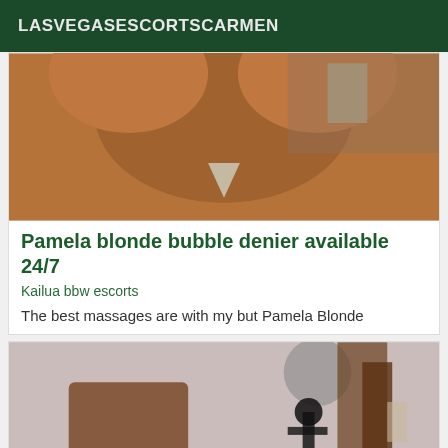LASVEGASESCORTSCARMEN
[Figure (photo): Close-up photo, warm brown tones, background with window]
Pamela blonde bubble denier available 24/7
Kailua bbw escorts
The best massages are with my but Pamela Blonde
[Figure (photo): Interior room photo with mirror, wooden furniture, and dark clothing item on stand]